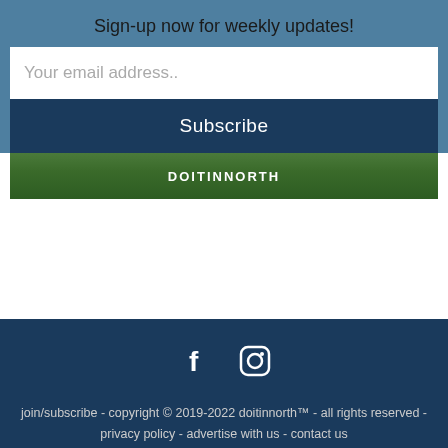Sign-up now for weekly updates!
Your email address..
Subscribe
[Figure (other): Green grass background with DOITINNORTH text overlay]
[Figure (other): Social media icons: Facebook (f) and Instagram circle icon]
join/subscribe - copyright © 2019-2022 doitinnorth™ - all rights reserved - privacy policy - advertise with us - contact us
Share This ∨  ✕